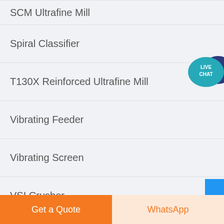SCM Ultrafine Mill
Spiral Classifier
T130X Reinforced Ultrafine Mill
Vibrating Feeder
Vibrating Screen
VSI Crusher
[Figure (illustration): Live Chat speech bubble icon in teal/dark blue]
Get a Quote
WhatsApp